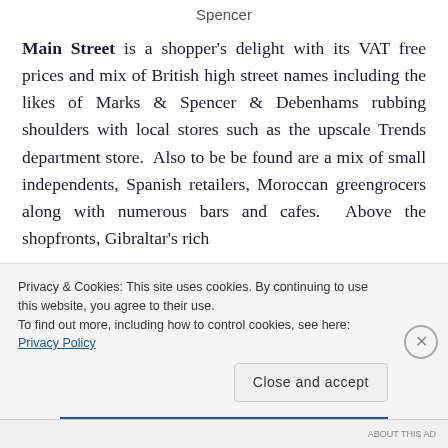Spencer
Main Street is a shopper's delight with its VAT free prices and mix of British high street names including the likes of Marks & Spencer & Debenhams rubbing shoulders with local stores such as the upscale Trends department store. Also to be be found are a mix of small independents, Spanish retailers, Moroccan greengrocers along with numerous bars and cafes. Above the shopfronts, Gibraltar's rich
Privacy & Cookies: This site uses cookies. By continuing to use this website, you agree to their use.
To find out more, including how to control cookies, see here: Privacy Policy
Close and accept